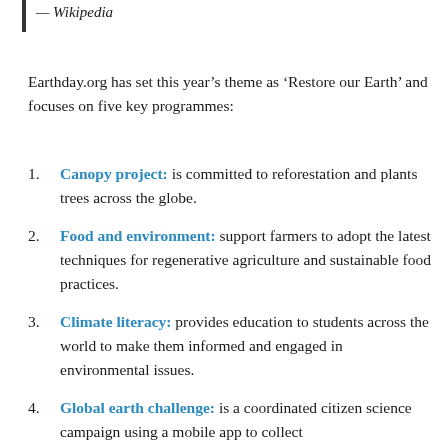— Wikipedia
Earthday.org has set this year's theme as 'Restore our Earth' and focuses on five key programmes:
Canopy project: is committed to reforestation and plants trees across the globe.
Food and environment: support farmers to adopt the latest techniques for regenerative agriculture and sustainable food practices.
Climate literacy: provides education to students across the world to make them informed and engaged in environmental issues.
Global earth challenge: is a coordinated citizen science campaign using a mobile app to collect